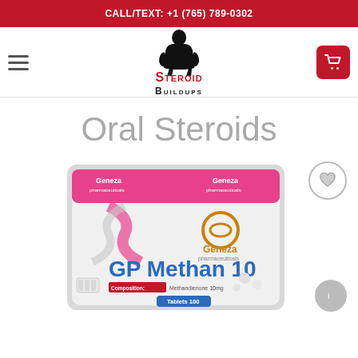CALL/TEXT: +1 (765) 789-0302
[Figure (screenshot): Steroid Buildups website navigation bar with hamburger menu, logo (muscular figure silhouette with 'Steroid Buildups' text), and cart button]
Oral Steroids
[Figure (photo): Product photo of Geneza Pharmaceuticals GP Methan 10 (Methandienone 10mg, Tablets 100) in a silver resealable foil pouch with pink branding elements and DNA helix graphic]